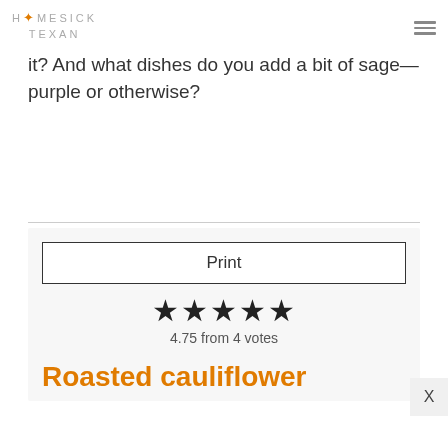HOMESICK TEXAN
it? And what dishes do you add a bit of sage—purple or otherwise?
Print
[Figure (other): 5 filled star rating icons]
4.75 from 4 votes
Roasted cauliflower